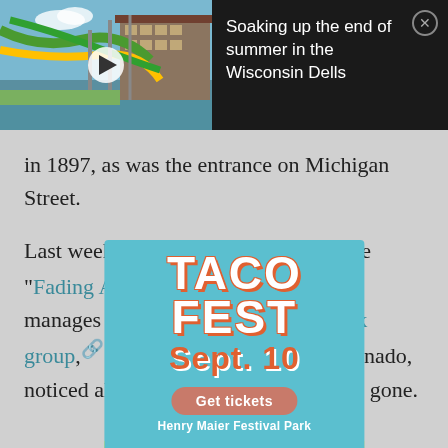[Figure (screenshot): Video thumbnail showing a water park with green waterslides and a large building, with a play button overlay]
Soaking up the end of summer in the Wisconsin Dells
in 1897, as was the entrance on Michigan Street.
Last week, Adam Levin, who wrote the "Fading Ads of Milwaukee" book, manages the Old Milwaukee Facebook group, and is a dedicated sign aficionado, noticed all but one of the plaques were gone.
[Figure (infographic): Taco Fest advertisement overlay: TACO FEST Sept. 10, Get tickets button, Henry Maier Festival Park, with taco food imagery at bottom]